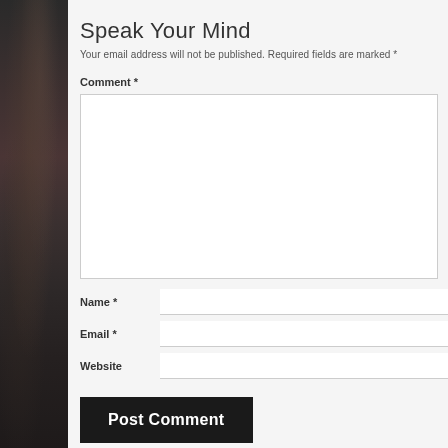[Figure (photo): Dark-toned photograph on the left side of the page, showing a partially visible figure or animal in dark browns and blacks]
Speak Your Mind
Your email address will not be published. Required fields are marked *
Comment *
Name *
Email *
Website
Post Comment